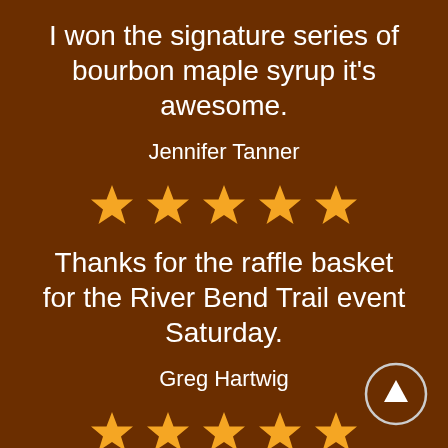I won the signature series of bourbon maple syrup it's awesome.
Jennifer Tanner
[Figure (other): Five gold/orange star rating icons]
Thanks for the raffle basket for the River Bend Trail event Saturday.
Greg Hartwig
[Figure (other): Up arrow button circle icon]
[Figure (other): Five gold/orange star rating icons]
Oh...